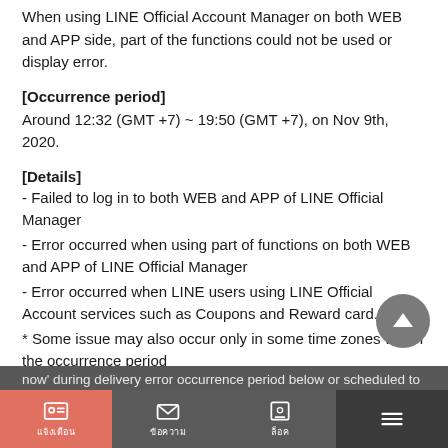When using LINE Official Account Manager on both WEB and APP side, part of the functions could not be used or display error.
[Occurrence period]
Around 12:32 (GMT +7) ~ 19:50 (GMT +7), on Nov 9th, 2020.
[Details]
- Failed to log in to both WEB and APP of LINE Official Manager
- Error occurred when using part of functions on both WEB and APP of LINE Official Manager
- Error occurred when LINE users using LINE Official Account services such as Coupons and Reward card.
* Some issue may also occur only in some time zones within the occurrence period
In addition, all broadcast which meet the following conditions will be considered as delivery error. Therefore, broadcast set as 'send now' during delivery error occurrence period below or scheduled to be sent at the time of occurrence period below are not sent.